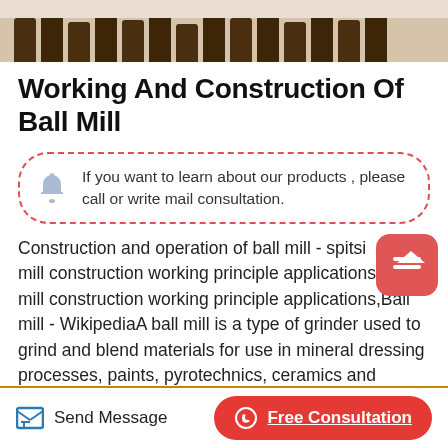[Figure (photo): Photo strip showing a ball mill or industrial machinery with dark brown structural components against a light background]
Working And Construction Of Ball Mill
If you want to learn about our products , please call or write mail consultation.
Construction and operation of ball mill - spitside ball mill construction working principle applications. ball mill construction working principle applications,Ball mill - WikipediaA ball mill is a type of grinder used to grind and blend materials for use in mineral dressing processes, paints, pyrotechnics, ceramics and selective laser
Send Message   Free Consultation